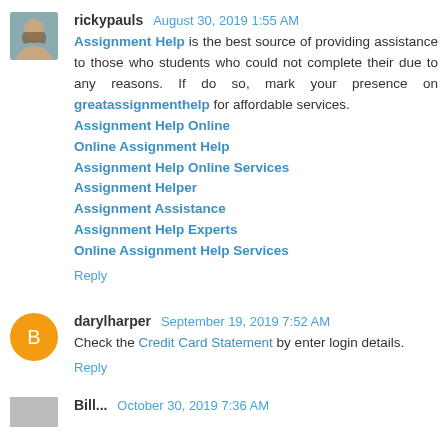rickypauls August 30, 2019 1:55 AM
Assignment Help is the best source of providing assistance to those who students who could not complete their due to any reasons. If do so, mark your presence on greatassignmenthelp for affordable services.
Assignment Help Online
Online Assignment Help
Assignment Help Online Services
Assignment Helper
Assignment Assistance
Assignment Help Experts
Online Assignment Help Services
Reply
darylharper September 19, 2019 7:52 AM
Check the Credit Card Statement by enter login details.
Reply
Bill... October 30, 2019 7:30 AM